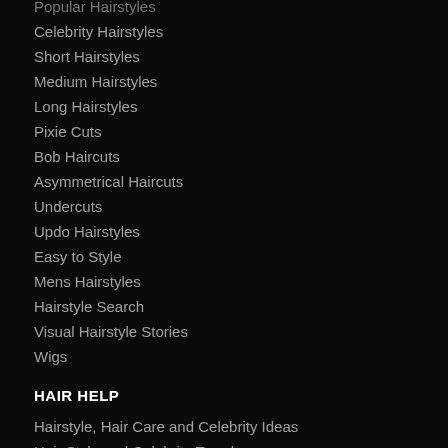Popular Hairstyles
Celebrity Hairstyles
Short Hairstyles
Medium Hairstyles
Long Hairstyles
Pixie Cuts
Bob Haircuts
Asymmetrical Haircuts
Undercuts
Updo Hairstyles
Easy to Style
Mens Hairstyles
Hairstyle Search
Visual Hairstyle Stories
Wigs
HAIR HELP
Hairstyle, Hair Care and Celebrity Ideas
Hair Style and Celebrity Trends
Hair Styling Products